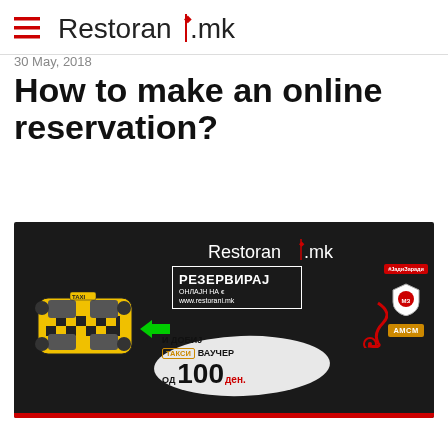Restorani.mk
30 May, 2018
How to make an online reservation?
[Figure (illustration): Dark promotional image for Restorani.mk showing a yellow taxi cab viewed from above on the left, a green arrow pointing left, a bordered white box with Cyrillic text 'РЕЗЕРВИРАЈ ОНЛАЈН НА www.restorani.mk', a white brush-stroke area with Cyrillic text 'И ДОБИЈ ТАКСИ ВАУЧЕР ОД 100 ден.', a swirling red decoration, and partner logos on the right including a red badge, a shield logo, and АМСМ badge. The Restorani.mk logo appears at the top center of the image.]